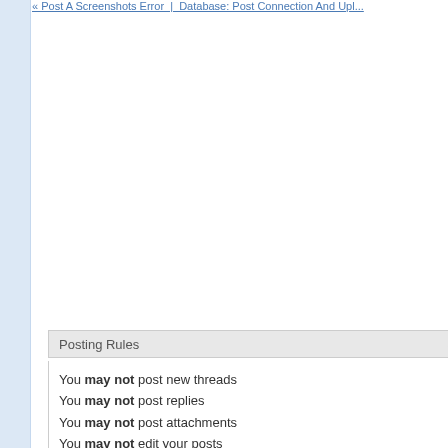« Post A Screenshot Error | Database: Post Connection And Upl...
Posting Rules
You may not post new threads
You may not post replies
You may not post attachments
You may not edit your posts
vB code is On
Smilies are On